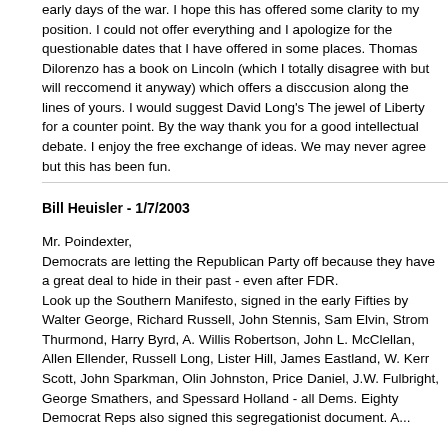early days of the war. I hope this has offered some clarity to my position. I could not offer everything and I apologize for the questionable dates that I have offered in some places. Thomas Dilorenzo has a book on Lincoln (which I totally disagree with but will reccomend it anyway) which offers a disccusion along the lines of yours. I would suggest David Long's The jewel of Liberty for a counter point. By the way thank you for a good intellectual debate. I enjoy the free exchange of ideas. We may never agree but this has been fun.
Bill Heuisler - 1/7/2003
Mr. Poindexter,
Democrats are letting the Republican Party off because they have a great deal to hide in their past - even after FDR. Look up the Southern Manifesto, signed in the early Fifties by Walter George, Richard Russell, John Stennis, Sam Elvin, Strom Thurmond, Harry Byrd, A. Willis Robertson, John L. McClellan, Allen Ellender, Russell Long, Lister Hill, James Eastland, W. Kerr Scott, John Sparkman, Olin Johnston, Price Daniel, J.W. Fulbright, George Smathers, and Spessard Holland - all Dems. Eighty Democrat Reps also signed this segregationist document. A...